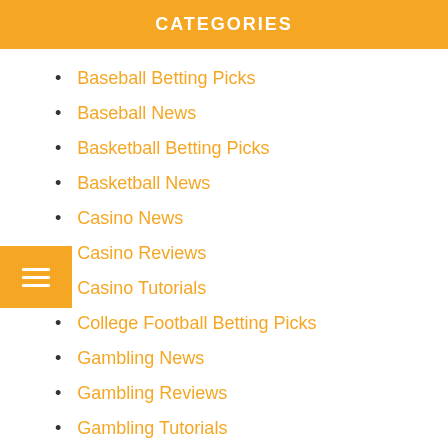CATEGORIES
Baseball Betting Picks
Baseball News
Basketball Betting Picks
Basketball News
Casino News
Casino Reviews
Casino Tutorials
College Football Betting Picks
Gambling News
Gambling Reviews
Gambling Tutorials
KBO News
MLB News
NBA News
NFL Betting Picks
NFL News